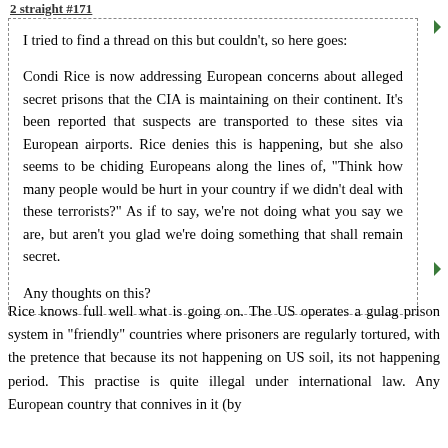2 straight #171
I tried to find a thread on this but couldn't, so here goes:

Condi Rice is now addressing European concerns about alleged secret prisons that the CIA is maintaining on their continent. It's been reported that suspects are transported to these sites via European airports. Rice denies this is happening, but she also seems to be chiding Europeans along the lines of, "Think how many people would be hurt in your country if we didn't deal with these terrorists?" As if to say, we're not doing what you say we are, but aren't you glad we're doing something that shall remain secret.

Any thoughts on this?
Rice knows full well what is going on. The US operates a gulag prison system in "friendly" countries where prisoners are regularly tortured, with the pretence that because its not happening on US soil, its not happening period. This practise is quite illegal under international law. Any European country that connives in it (by